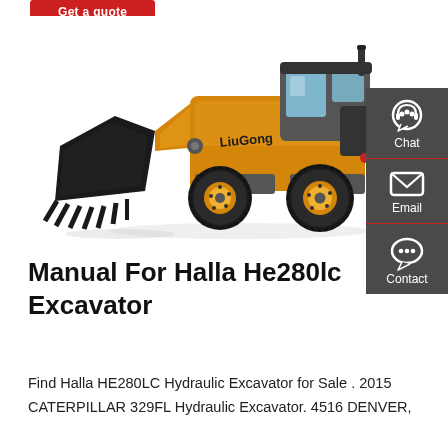[Figure (photo): Yellow LiuGong wheel loader with large black bucket/grapple attachment, side view on white background]
[Figure (infographic): Dark grey sidebar with three contact options: Chat (headset icon), Email (envelope icon), Contact (speech bubble with dots icon), each separated by a red line]
Manual For Halla He280lc Excavator
Find Halla HE280LC Hydraulic Excavator for Sale . 2015 CATERPILLAR 329FL Hydraulic Excavator. 4516 DENVER,